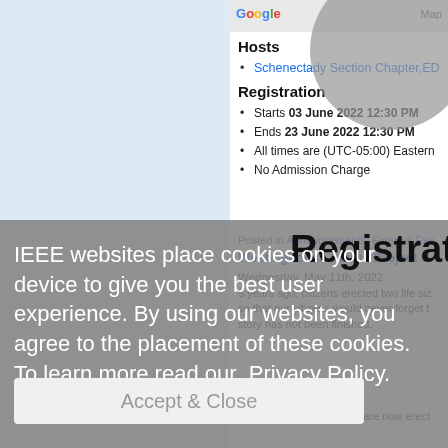[Figure (map): Google Maps partial view with Google logo and Map label]
Hosts
Schenectady Section Chapter,ED
Registration
Starts 03 June 2022 12:30 PM
Ends 23 June 2022 12:30 PM
All times are (UTC-05:00) Eastern
No Admission Charge
IEEE websites place cookies on your device to give you the best user experience. By using our websites, you agree to the placement of these cookies. To learn more read our Privacy Policy.
Posted in Announcements, External Eve
Westinghouse Statue Project C
Wednesday, May 11th, 2022
5 years ago, citizens erected two life siz so that our citizens would never forget t story has not been finished.
To better tell the story we are now erect